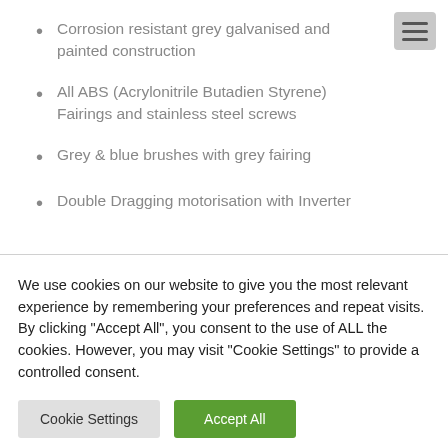Corrosion resistant grey galvanised and painted construction
All ABS (Acrylonitrile Butadien Styrene) Fairings and stainless steel screws
Grey & blue brushes with grey fairing
Double Dragging motorisation with Inverter
We use cookies on our website to give you the most relevant experience by remembering your preferences and repeat visits. By clicking "Accept All", you consent to the use of ALL the cookies. However, you may visit "Cookie Settings" to provide a controlled consent.